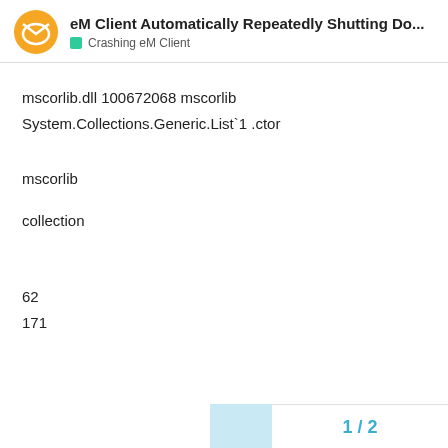eM Client Automatically Repeatedly Shutting Do... — Crashing eM Client
mscorlib.dll
100672068
mscorlib
System.Collections.Generic.List`1
.ctor
mscorlib
collection
62
171
1 / 2